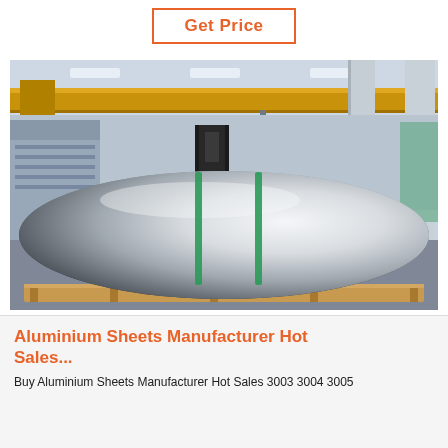Get Price
[Figure (photo): Large aluminium roll/coil on a wooden pallet inside a factory with an overhead yellow crane and forklift visible in the background]
Aluminium Sheets Manufacturer Hot Sales...
Buy Aluminium Sheets Manufacturer Hot Sales 3003 3004 3005